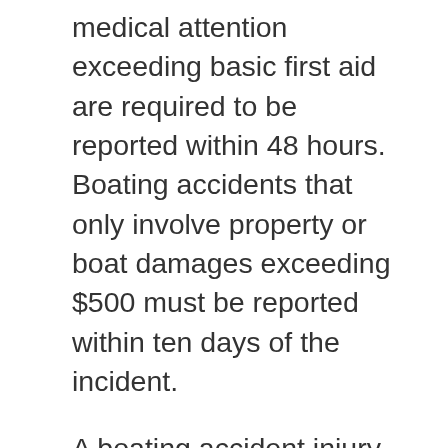medical attention exceeding basic first aid are required to be reported within 48 hours. Boating accidents that only involve property or boat damages exceeding $500 must be reported within ten days of the incident.
A boating accident injury can be caused by grounding, capsizing, collisions with other moving or non-moving vessels or fixed objects, falls or ejection overboard, fire or explosion, skier misfortunes, machinery malfunctions, sinking, and carbon monoxide asphyxiation. Most cases of boating accident injury are a consequence of boat operator negligence. Over forty percent of boating accident injury cases involve d a boat operator who was under the influence of alcohol. Over eighty percent of negligent